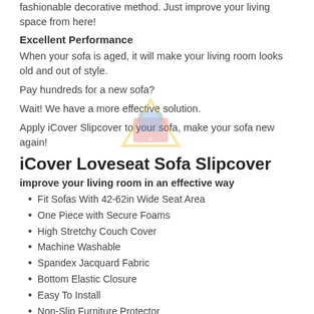fashionable decorative method. Just improve your living space from here!
Excellent Performance
When your sofa is aged, it will make your living room looks old and out of style.
Pay hundreds for a new sofa?
Wait! We have a more effective solution.
Apply iCover Slipcover to your sofa, make your sofa new again!
iCover Loveseat Sofa Slipcover
improve your living room in an effective way
Fit Sofas With 42-62in Wide Seat Area
One Piece with Secure Foams
High Stretchy Couch Cover
Machine Washable
Spandex Jacquard Fabric
Bottom Elastic Closure
Easy To Install
Non-Slip Furniture Protector